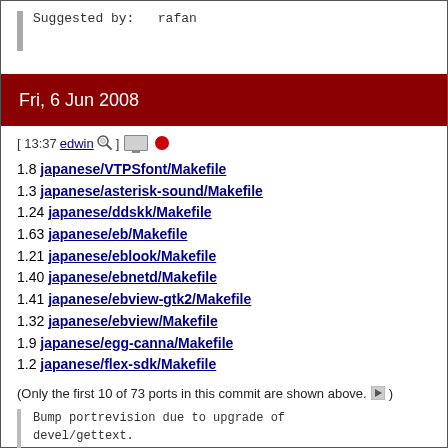Suggested by:   rafan
Fri, 6 Jun 2008
[ 13:37 edwin 🔍 ] 🖥️ 🔴
1.8 japanese/VTPSfont/Makefile
1.3 japanese/asterisk-sound/Makefile
1.24 japanese/ddskk/Makefile
1.63 japanese/eb/Makefile
1.21 japanese/eblook/Makefile
1.40 japanese/ebnetd/Makefile
1.41 japanese/ebview-gtk2/Makefile
1.32 japanese/ebview/Makefile
1.9 japanese/egg-canna/Makefile
1.2 japanese/flex-sdk/Makefile
(Only the first 10 of 73 ports in this commit are shown above. ▶)
Bump portrevision due to upgrade of
devel/gettext.

The affected ports are the ones with
gettext as a run-dependency
according to ports/INDEX-7 (5007 of
them) and the ones with USE_GETTEXT
in Makefile (29 of them).